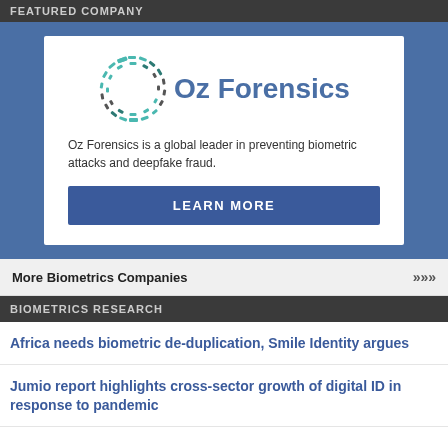FEATURED COMPANY
[Figure (logo): Oz Forensics logo with circular dotted ring in teal/dark colors and company name text]
Oz Forensics is a global leader in preventing biometric attacks and deepfake fraud.
LEARN MORE
More Biometrics Companies >>>
BIOMETRICS RESEARCH
Africa needs biometric de-duplication, Smile Identity argues
Jumio report highlights cross-sector growth of digital ID in response to pandemic